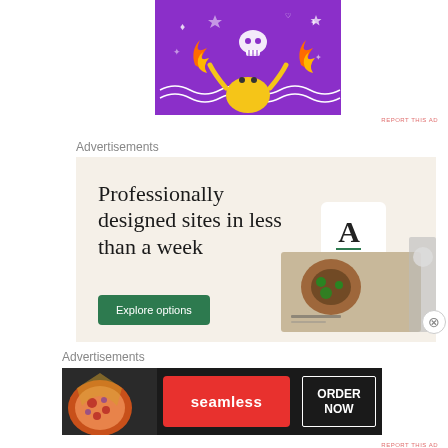[Figure (illustration): Purple background cartoon illustration with a yellow blob character, skulls, flames, wave lines, crowns, and doodle decorations]
REPORT THIS AD
Advertisements
[Figure (screenshot): Squarespace advertisement with beige background. Large serif text reads 'Professionally designed sites in less than a week'. Green 'Explore options' button. Right side shows website mockup screenshots.]
Advertisements
[Figure (screenshot): Seamless food delivery advertisement on dark background. Left shows pizza photo, center has red Seamless logo, right has white-bordered 'ORDER NOW' button.]
REPORT THIS AD